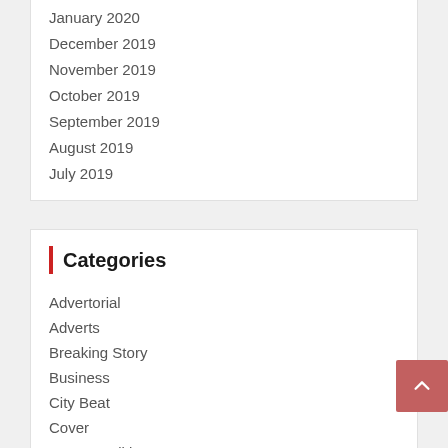January 2020
December 2019
November 2019
October 2019
September 2019
August 2019
July 2019
Categories
Advertorial
Adverts
Breaking Story
Business
City Beat
Cover
Current Edition